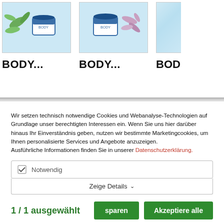[Figure (screenshot): Three product cards showing body cream/lotion products with herb decorations on light blue background. Each card shows 'BODY...' label. Third card is partially cut off.]
Wir setzen technisch notwendige Cookies und Webanalyse-Technologien auf Grundlage unser berechtigten Interessen ein. Wenn Sie uns hier darüber hinaus Ihr Einverständnis geben, nutzen wir bestimmte Marketingcookies, um Ihnen personalisierte Services und Angebote anzuzeigen. Ausführliche Informationen finden Sie in unserer Datenschutzerklärung.
Notwendig
Zeige Details
1 / 1  ausgewählt
sparen
Akzeptiere alle